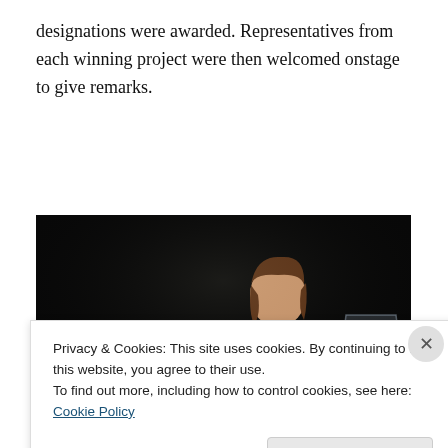designations were awarded. Representatives from each winning project were then welcomed onstage to give remarks.
[Figure (photo): A woman in a black outfit stands at a clear podium holding a microphone, speaking on a dark stage. A blue sign on the podium reads 'THE SARAS NATIONAL'.]
Privacy & Cookies: This site uses cookies. By continuing to use this website, you agree to their use.
To find out more, including how to control cookies, see here: Cookie Policy